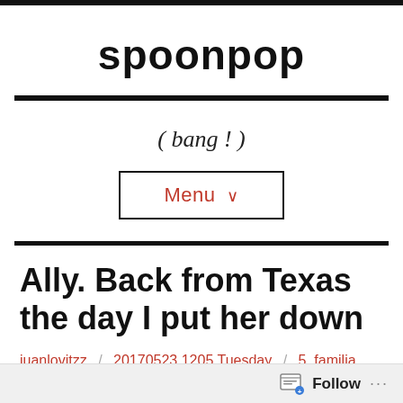spoonpop
(bang!)
Menu ∨
Ally. Back from Texas the day I put her down
juanlovitzz / 20170523.1205 Tuesday / 5, familia, fauna,
Follow ...